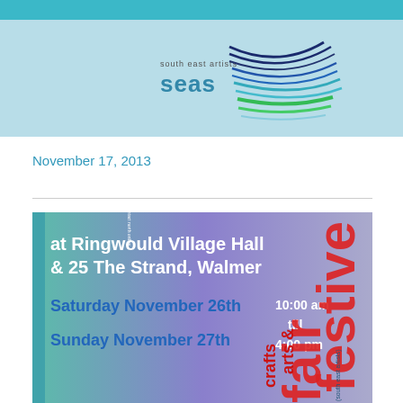[Figure (logo): South East Artists (SEAS) logo with swoosh lines in blue, green, and teal colors on a light blue background]
November 17, 2013
[Figure (illustration): SEAS festive arts & crafts fair banner: at Ringwould Village Hall & 25 The Strand, Walmer. Saturday November 26th 10:00 am till Sunday November 27th 4:00 pm. Vertical text reads 'seas festive fair' and 'arts & crafts' on a teal/purple gradient background.]